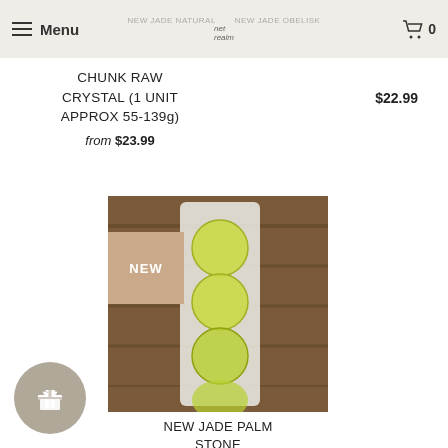Menu | net realm | NEW JADE NATURAL CHUNK RAW CRYSTAL NEW JADE OBELISK | Cart 0
CHUNK RAW CRYSTAL (1 UNIT APPROX 55-139g)
from $23.99
$22.99
[Figure (photo): Photo of New Jade palm stones — four round yellow-green jade discs arranged on a white selenite slab, placed on a wooden surface. A tan 'NEW' badge overlays the top-left corner of the image.]
NEW JADE PALM STONE
$11.99